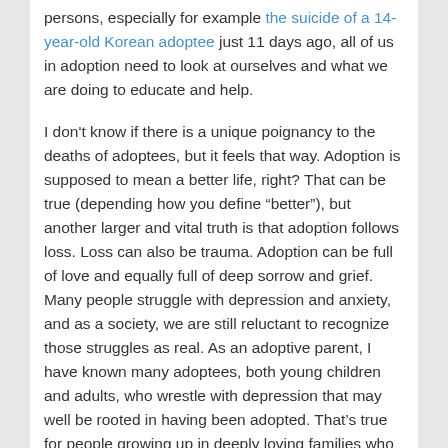persons, especially for example the suicide of a 14-year-old Korean adoptee just 11 days ago, all of us in adoption need to look at ourselves and what we are doing to educate and help.

I don't know if there is a unique poignancy to the deaths of adoptees, but it feels that way. Adoption is supposed to mean a better life, right? That can be true (depending how you define “better”), but another larger and vital truth is that adoption follows loss. Loss can also be trauma. Adoption can be full of love and equally full of deep sorrow and grief. Many people struggle with depression and anxiety, and as a society, we are still reluctant to recognize those struggles as real. As an adoptive parent, I have known many adoptees, both young children and adults, who wrestle with depression that may well be rooted in having been adopted. That’s true for people growing up in deeply loving families who provide all available resources for mental health challenges, as well as for those whose adoptive parents are abusive. For those who get help, the struggle can still be difficult. For